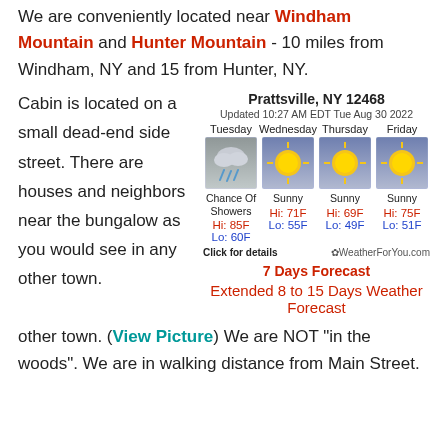We are conveniently located near Windham Mountain and Hunter Mountain - 10 miles from Windham, NY and 15 from Hunter, NY.
Cabin is located on a small dead-end side street. There are houses and neighbors near the bungalow as you would see in any other town. (View Picture) We are NOT "in the woods". We are in walking distance from Main Street.
[Figure (infographic): Weather widget for Prattsville, NY 12468. Updated 10:27 AM EDT Tue Aug 30 2022. Shows 4-day forecast: Tuesday Chance Of Showers Hi:85F Lo:60F, Wednesday Sunny Hi:71F Lo:55F, Thursday Sunny Hi:69F Lo:49F, Friday Sunny Hi:75F Lo:51F. Footer: Click for details and WeatherForYou.com. Links: 7 Days Forecast and Extended 8 to 15 Days Weather Forecast.]